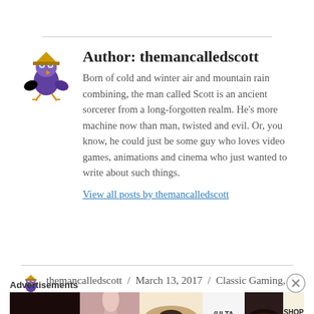Author: themancalledscott
Born of cold and winter air and mountain rain combining, the man called Scott is an ancient sorcerer from a long-forgotten realm. He’s more machine now than man, twisted and evil. Or, you know, he could just be some guy who loves video games, animations and cinema who just wanted to write about such things.
View all posts by themancalledscott
themancalledscott / March 13, 2017 / Classic Gaming, Video Games / Classic Games, SNES, Video Games, Wrestlemania, WWE, WWF Super Wrestlemania
Advertisements